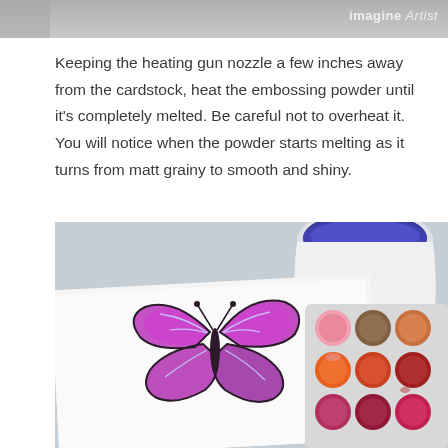[Figure (photo): Top cropped photo strip showing a crafting scene with a grey background, partially visible. Watermark text 'imagine Artist' visible in top right corner.]
Keeping the heating gun nozzle a few inches away from the cardstock, heat the embossing powder until it's completely melted. Be careful not to overheat it. You will notice when the powder starts melting as it turns from matt grainy to smooth and shiny.
[Figure (photo): Photo of a watercolor butterfly artwork on white cardstock next to a white ceramic pitcher with blue paint and a palette of watercolor paints in various shades of pink, orange, and red.]